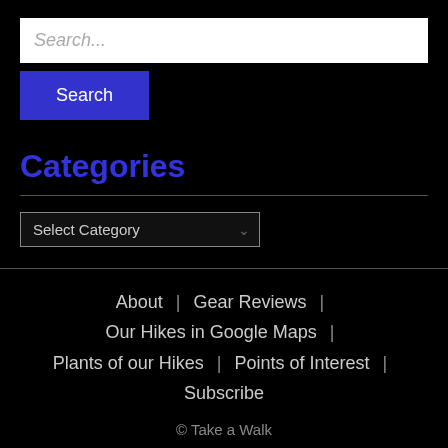Search...
Search
Categories
Select Category
About | Gear Reviews | Our Hikes in Google Maps | Plants of our Hikes | Points of Interest | Subscribe
© Take a Walk